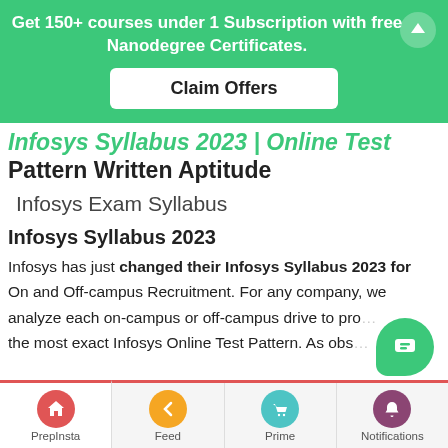[Figure (infographic): Green promotional banner with text 'Get 150+ courses under 1 Subscription with free Nanodegree Certificates.' and a white 'Claim Offers' button, plus an up-arrow icon top-right.]
Infosys Syllabus 2023 | Online Test Pattern Written Aptitude
Infosys Exam Syllabus
Infosys Syllabus 2023
Infosys has just changed their Infosys Syllabus 2023 for On and Off-campus Recruitment. For any company, we analyze each on-campus or off-campus drive to provide the most exact Infosys Online Test Pattern. As obs…
[Figure (infographic): Bottom navigation bar with PrepInsta (home, red), Feed (back arrow, orange), Prime (cart, teal), Notifications (bell, purple). Green chat bubble overlay bottom-right.]